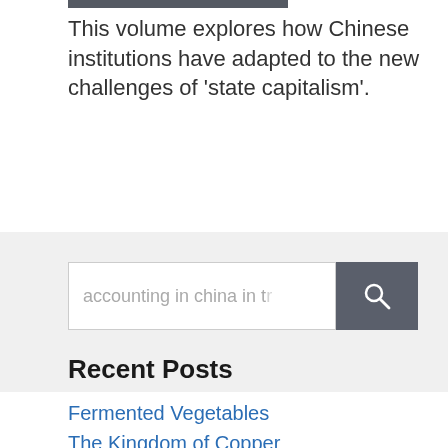This volume explores how Chinese institutions have adapted to the new challenges of 'state capitalism'.
[Figure (screenshot): Search bar with text 'accounting in china in t' and a dark grey search button with magnifying glass icon, on a light grey background section]
Recent Posts
Fermented Vegetables
The Kingdom of Copper